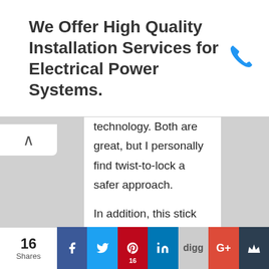We Offer High Quality Installation Services for Electrical Power Systems.
technology. Both are great, but I personally find twist-to-lock a safer approach.

In addition, this stick has an unique inbuilt Bluetooth button. Besides having a sophisticated design, it also has an extra button, the power saving button. This allows you to preserve the battery life when you are not using the stick. For reference, look at the diagram
16 Shares | Facebook | Twitter | Pinterest 16 | LinkedIn | digg | G+ | Crown